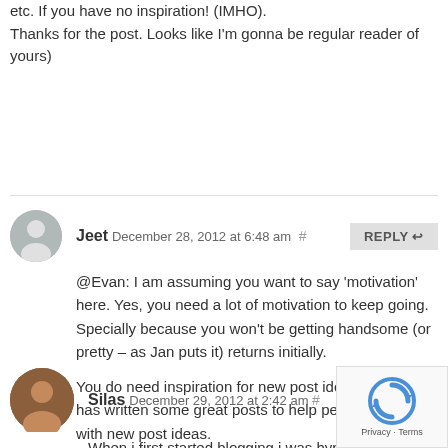etc. If you have no inspiration! (IMHO).
Thanks for the post. Looks like I'm gonna be regular reader of yours)
Jeet December 28, 2012 at 6:48 am #
@Evan: I am assuming you want to say 'motivation' here. Yes, you need a lot of motivation to keep going. Specially because you won't be getting handsome (or pretty – as Jan puts it) returns initially.
You do need inspiration for new post ideas. Andrew has written some great posts to help people come up with new post ideas.
Silas December 29, 2012 at 2:42 am #
When i first started blogging i was hyped up by